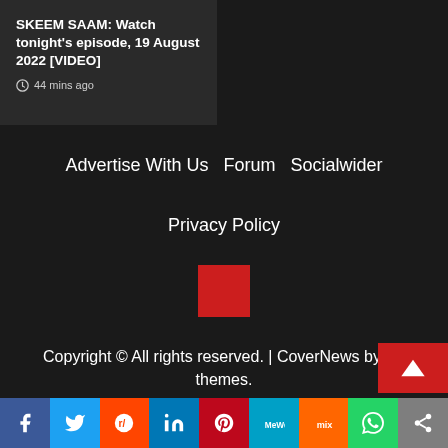SKEEM SAAM: Watch tonight's episode, 19 August 2022 [VIDEO]
44 mins ago
Advertise With Us   Forum   Socialwider
Privacy Policy
[Figure (logo): Red square logo/icon]
Copyright © All rights reserved. | CoverNews by AF themes.
[Figure (other): Social media sharing bar with Facebook, Twitter, Reddit, LinkedIn, Pinterest, MeWe, Mix, WhatsApp, Share buttons]